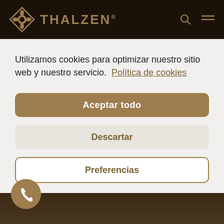THALZEN® navigation bar with logo
Utilizamos cookies para optimizar nuestro sitio web y nuestro servicio. Política de cookies
Aceptar todo
Descartar
Preferencias